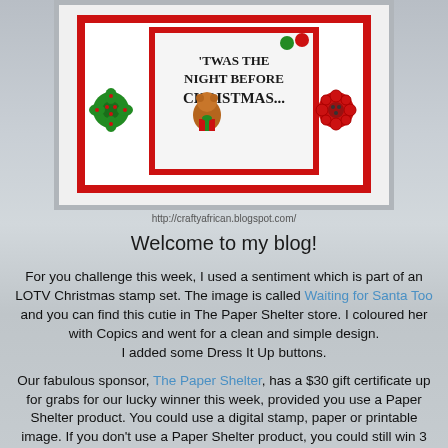[Figure (photo): Christmas card photo showing a red and white card with 'Twas the Night Before Christmas' text, a bear with present image, and green and red flower-shaped buttons/embellishments. URL http://craftyafrican.blogspot.com/ shown below.]
http://craftyafrican.blogspot.com/
Welcome to my blog!
For you challenge this week, I used a sentiment which is part of an LOTV Christmas stamp set.  The image is called Waiting for Santa Too and you can find this cutie in The Paper Shelter store. I coloured her with Copics and went for a clean and simple design.
I added some Dress It Up buttons.
Our fabulous sponsor, The Paper Shelter, has a $30 gift certificate up for grabs for our lucky winner this week, provided you use a Paper Shelter product.  You could use a digital stamp, paper or printable image.  If you don't use a Paper Shelter product, you could still win 3 digi stamps of your choice!